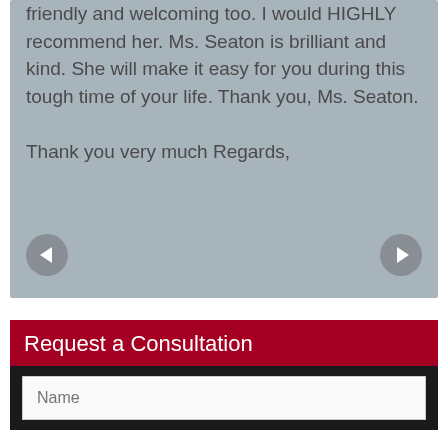friendly and welcoming too. I would HIGHLY recommend her. Ms. Seaton is brilliant and kind. She will make it easy for you during this tough time of your life. Thank you, Ms. Seaton.

Thank you very much Regards,
Request a Consultation
Name